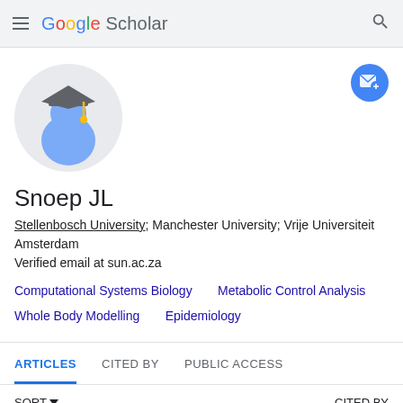Google Scholar
[Figure (illustration): Google Scholar default avatar: a graduation cap icon on a blue person silhouette with a light gray circular background]
Snoep JL
Stellenbosch University; Manchester University; Vrije Universiteit Amsterdam
Verified email at sun.ac.za
Computational Systems Biology
Metabolic Control Analysis
Whole Body Modelling
Epidemiology
ARTICLES   CITED BY   PUBLIC ACCESS
SORT ▾   CITED BY